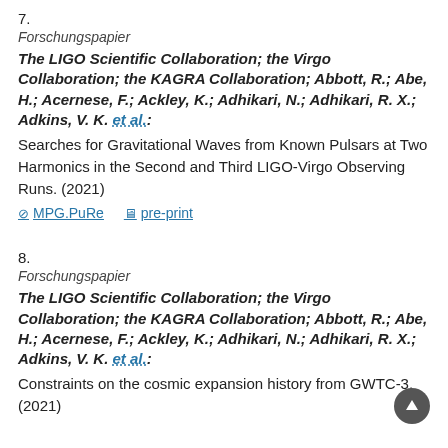7.
Forschungspapier
The LIGO Scientific Collaboration; the Virgo Collaboration; the KAGRA Collaboration; Abbott, R.; Abe, H.; Acernese, F.; Ackley, K.; Adhikari, N.; Adhikari, R. X.; Adkins, V. K. et al.:
Searches for Gravitational Waves from Known Pulsars at Two Harmonics in the Second and Third LIGO-Virgo Observing Runs. (2021)
MPG.PuRe   pre-print
8.
Forschungspapier
The LIGO Scientific Collaboration; the Virgo Collaboration; the KAGRA Collaboration; Abbott, R.; Abe, H.; Acernese, F.; Ackley, K.; Adhikari, N.; Adhikari, R. X.; Adkins, V. K. et al.:
Constraints on the cosmic expansion history from GWTC-3. (2021)